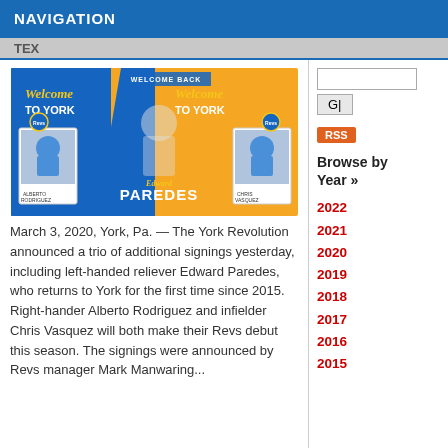NAVIGATION
TEX
[Figure (illustration): Welcome to York – Edward Paredes announcement graphic with baseball player images and two trading cards showing Alberto Rodriguez and Chris Vasquez]
March 3, 2020, York, Pa. — The York Revolution announced a trio of additional signings yesterday, including left-handed reliever Edward Paredes, who returns to York for the first time since 2015. Right-hander Alberto Rodriguez and infielder Chris Vasquez will both make their Revs debut this season. The signings were announced by Revs manager Mark Manwaring...
Go
RSS
Browse by Year »
2022
2021
2020
2019
2018
2017
2016
2015